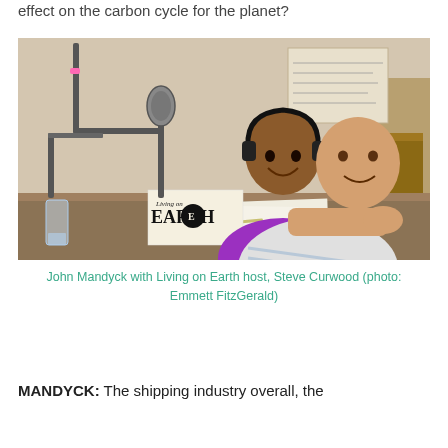effect on the carbon cycle for the planet?
[Figure (photo): Two men sitting at a radio studio desk with microphones. One man wearing headphones and a purple shirt, another bald man in a striped shirt. A 'Living on Earth' sign is visible on the desk.]
John Mandyck with Living on Earth host, Steve Curwood (photo: Emmett FitzGerald)
MANDYCK: The shipping industry overall, the